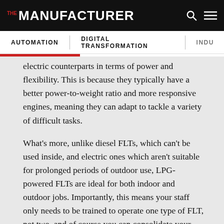THE MANUFACTURER
electric counterparts in terms of power and flexibility. This is because they typically have a better power-to-weight ratio and more responsive engines, meaning they can adapt to tackle a variety of difficult tasks.
What's more, unlike diesel FLTs, which can't be used inside, and electric ones which aren't suitable for prolonged periods of outdoor use, LPG-powered FLTs are ideal for both indoor and outdoor jobs. Importantly, this means your staff only needs to be trained to operate one type of FLT, not two, and of course you can consolidate your fleet, reducing maintenance costs.